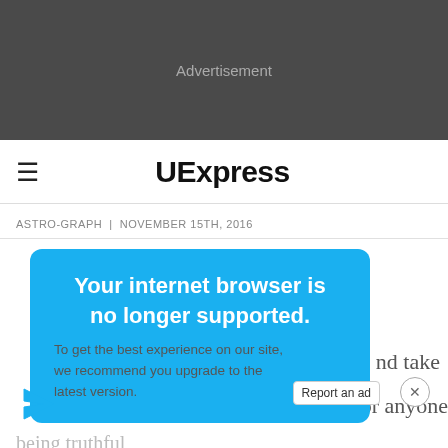[Figure (screenshot): Dark grey advertisement banner area with 'Advertisement' text in grey]
UExpress
ASTRO-GRAPH  |  NOVEMBER 15TH, 2016
[Figure (screenshot): Blue browser warning popup overlay: 'Your internet browser is no longer supported.' with subtext 'To get the best experience on our site, we recommend you upgrade to the latest version.']
nd take
Report an ad
hing or anyone
being truthful